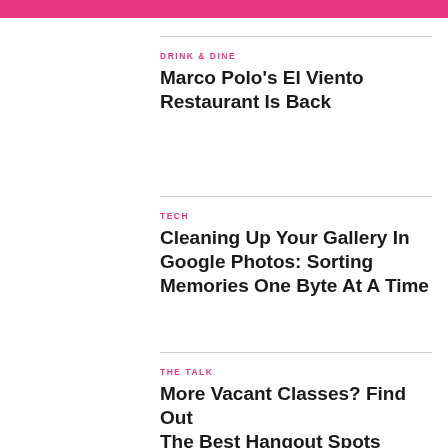DRINK & DINE
Marco Polo's El Viento Restaurant Is Back
TECH
Cleaning Up Your Gallery In Google Photos: Sorting Memories One Byte At A Time
THE TALK
More Vacant Classes? Find Out The Best Hangout Spots Around Your Campus